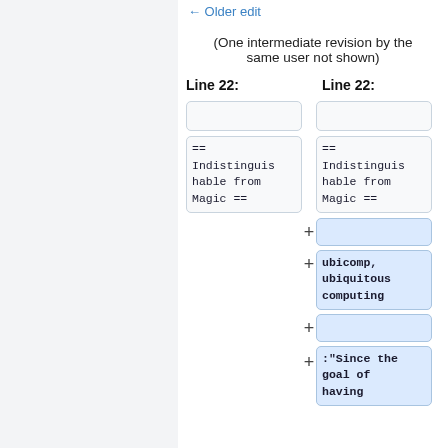← Older edit
(One intermediate revision by the same user not shown)
Line 22:
Line 22:
== Indistinguishable from Magic ==
== Indistinguishable from Magic ==
+ (empty)
+ ubicomp, ubiquitous computing
+ (empty)
+ :"Since the goal of having